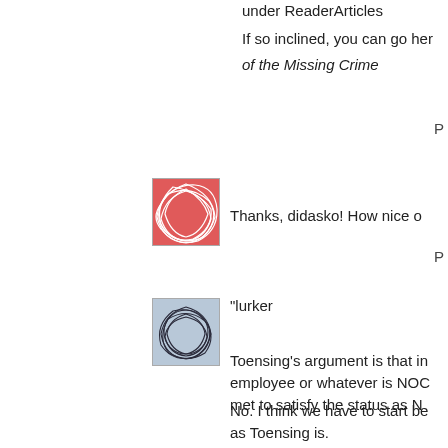under ReaderArticles
If so inclined, you can go here of the Missing Crime
P
[Figure (illustration): Red abstract tangled lines avatar image]
Thanks, didasko! How nice o
P
[Figure (illustration): Blue/grey abstract tangled lines avatar image]
"lurker
Toensing's argument is that in employee or whatever is NOC met to satisfy the status as N
No. I think we have to start be as Toensing is.
If we're not as careful as she point.
Classified status and NOC ar
Covert is ONLY a statutory de